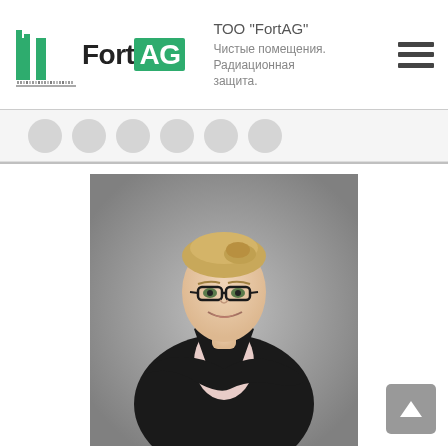ТОО "FortAG" — Чистые помещения. Радиационная защита.
[Figure (photo): Professional business woman with glasses, wearing a black blazer with arms crossed, smiling, on a grey background]